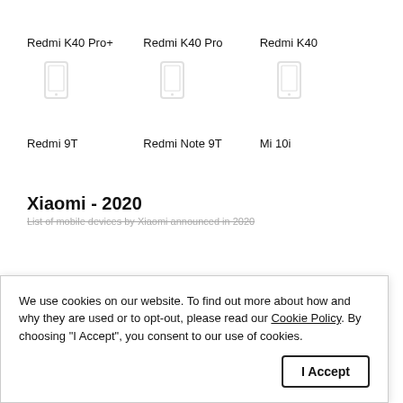Redmi K40 Pro+
Redmi K40 Pro
Redmi K40
Redmi 9T
Redmi Note 9T
Mi 10i
Xiaomi - 2020
List of mobile devices by Xiaomi announced in 2020
We use cookies on our website. To find out more about how and why they are used or to opt-out, please read our Cookie Policy. By choosing "I Accept", you consent to our use of cookies.